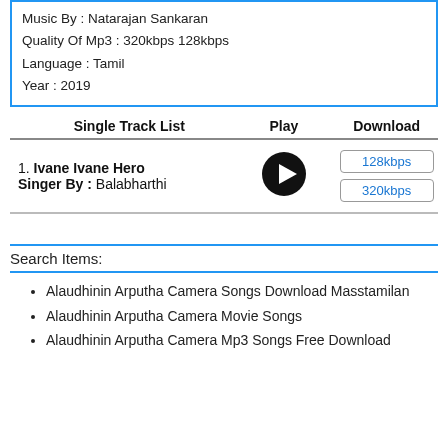Music By : Natarajan Sankaran
Quality Of Mp3 : 320kbps 128kbps
Language : Tamil
Year : 2019
| Single Track List | Play | Download |
| --- | --- | --- |
| 1. Ivane Ivane Hero
Singer By : Balabharthi | [play] | 128kbps
320kbps |
Search Items:
Alaudhinin Arputha Camera Songs Download Masstamilan
Alaudhinin Arputha Camera Movie Songs
Alaudhinin Arputha Camera Mp3 Songs Free Download